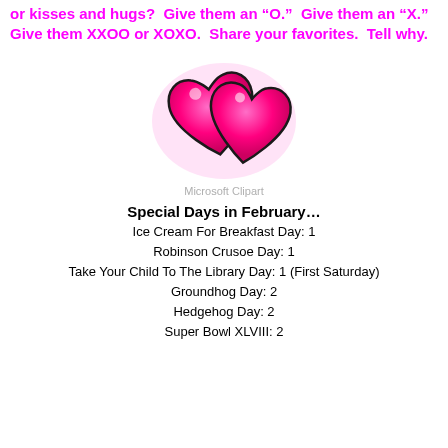or kisses and hugs?  Give them an "O."  Give them an "X." Give them XXOO or XOXO.  Share your favorites.  Tell why.
[Figure (illustration): Two pink/magenta cartoon hearts overlapping, with a soft pink glow, on white background. Microsoft Clipart style.]
Microsoft Clipart
Special Days in February…
Ice Cream For Breakfast Day: 1
Robinson Crusoe Day: 1
Take Your Child To The Library Day: 1 (First Saturday)
Groundhog Day: 2
Hedgehog Day: 2
Super Bowl XLVIII: 2